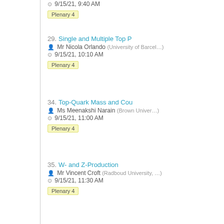9/15/21, 9:40 AM — Plenary 4
29. Single and Multiple Top P — Mr Nicola Orlando (University of Barcelona) — 9/15/21, 10:10 AM — Plenary 4
34. Top-Quark Mass and Cou — Ms Meenakshi Narain (Brown University) — 9/15/21, 11:00 AM — Plenary 4
35. W- and Z-Production — Mr Vincent Croft (Radboud University) — 9/15/21, 11:30 AM — Plenary 4
36. Triple and Quartic Gauge — Mr Riccardo Bellan (Univ. di Torino e S) — 9/15/21, 12:00 PM — Plenary 4